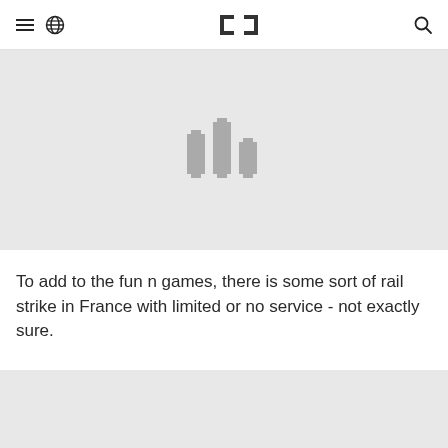[Navigation bar with hamburger menu, globe icon, logo, and search icon]
[Figure (logo): Gray bar hero area with a pixelated bar-chart style logo icon centered in a light gray banner]
To add to the fun n games, there is some sort of rail strike in France with limited or no service - not exactly sure.